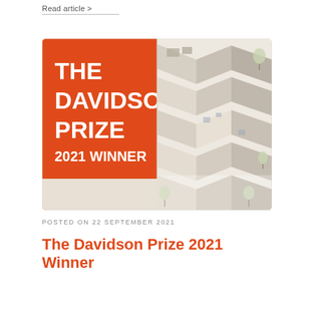Read article >
[Figure (illustration): The Davidson Prize 2021 Winner banner image featuring an orange triangular graphic on the left with white text reading THE DAVIDSON PRIZE 2021 WINNER, and on the right an isometric architectural illustration of residential buildings with trees and gardens, split into two vertical panels.]
POSTED ON 22 SEPTEMBER 2021
The Davidson Prize 2021 Winner